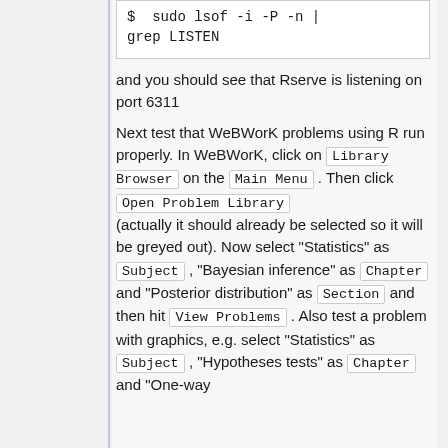[Figure (screenshot): Code block showing: $  sudo lsof -i -P -n | grep LISTEN]
and you should see that Rserve is listening on port 6311
Next test that WeBWorK problems using R run properly. In WeBWorK, click on Library Browser on the Main Menu . Then click Open Problem Library (actually it should already be selected so it will be greyed out). Now select "Statistics" as Subject , "Bayesian inference" as Chapter and "Posterior distribution" as Section and then hit View Problems . Also test a problem with graphics, e.g. select "Statistics" as Subject , "Hypotheses tests" as Chapter and "One-way